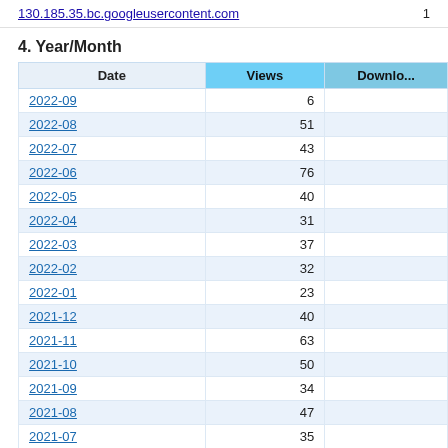130.185.35.bc.googleusercontent.com    1
4. Year/Month
| Date | Views | Downloads |
| --- | --- | --- |
| 2022-09 | 6 |  |
| 2022-08 | 51 |  |
| 2022-07 | 43 |  |
| 2022-06 | 76 |  |
| 2022-05 | 40 |  |
| 2022-04 | 31 |  |
| 2022-03 | 37 |  |
| 2022-02 | 32 |  |
| 2022-01 | 23 |  |
| 2021-12 | 40 |  |
| 2021-11 | 63 |  |
| 2021-10 | 50 |  |
| 2021-09 | 34 |  |
| 2021-08 | 47 |  |
| 2021-07 | 35 |  |
| 2021-06 | 36 |  |
| 2021-05 | 76 |  |